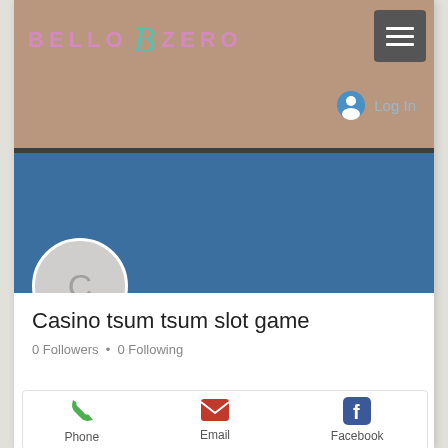[Figure (screenshot): Bello Zero website header with tan/brown background, logo text 'BELLO B ZERO' in pink with teal B monogram, hamburger menu button top right, user login icon and 'Log In' text]
Log In
[Figure (screenshot): Blue profile banner with Follow button and three-dot menu, gray avatar circle with letter C]
Casino tsum tsum slot game
0 Followers • 0 Following
[Figure (screenshot): Bottom contact bar with Phone (green phone icon), Email (pink/red envelope icon), Facebook (blue Facebook icon)]